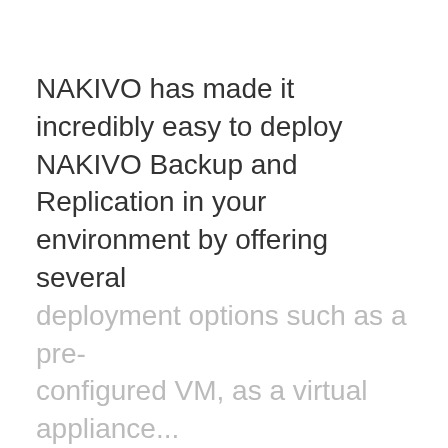NAKIVO has made it incredibly easy to deploy NAKIVO Backup and Replication in your environment by offering several deployment options such as a pre-configured VM, as a virtual appliance...